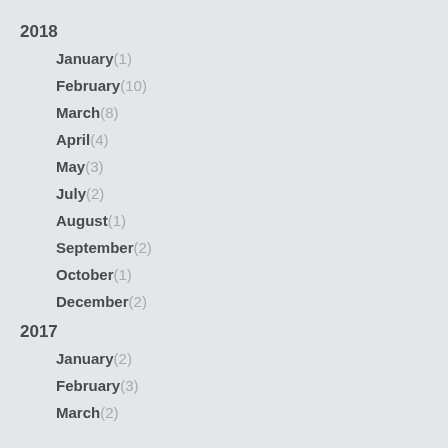2018
January(1)
February(10)
March(8)
April(4)
May(3)
July(2)
August(1)
September(2)
October(1)
December(2)
2017
January(2)
February(3)
March(2)